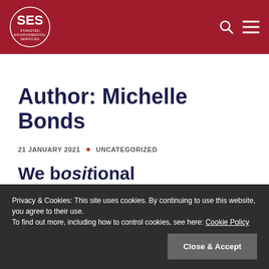[Figure (logo): SES Stansted Environmental Services logo — white circular logo with SES text and full name below on dark red background header]
Author: Michelle Bonds
21 JANUARY 2021 · UNCATEGORIZED
We b...ositional (partially visible)
Privacy & Cookies: This site uses cookies. By continuing to use this website, you agree to their use.
To find out more, including how to control cookies, see here: Cookie Policy
Close & Accept